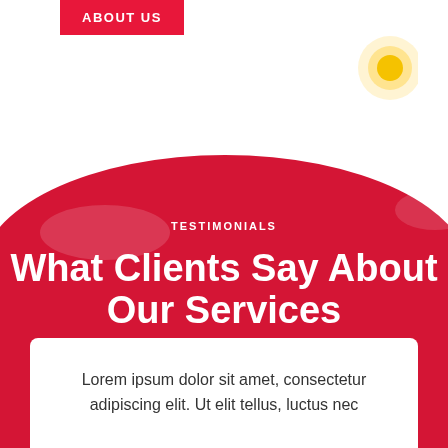ABOUT US
[Figure (illustration): Decorative sun/circle icon in yellow and white, positioned top right]
[Figure (illustration): Large red curved background section with semi-transparent circular light overlays and faint people silhouettes]
TESTIMONIALS
What Clients Say About Our Services
Lorem ipsum dolor sit amet, consectetur adipiscing elit. Ut elit tellus, luctus nec